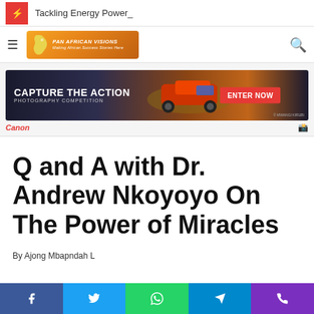Tackling Energy Power_
[Figure (logo): Pan African Visions website logo banner]
[Figure (infographic): Capture The Action - Photography Competition - Canon - Enter Now ad banner]
Q and A with Dr. Andrew Nkoyoyo On The Power of Miracles
By Ajong Mbapndah L
[Figure (infographic): Social sharing bar with Facebook, Twitter, WhatsApp, Telegram, Phone icons]